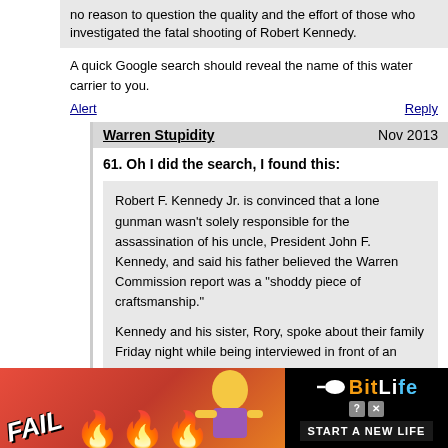no reason to question the quality and the effort of those who investigated the fatal shooting of Robert Kennedy.
A quick Google search should reveal the name of this water carrier to you.
Alert    Reply
Warren Stupidity    Nov 2013
61. Oh I did the search, I found this:
Robert F. Kennedy Jr. is convinced that a lone gunman wasn't solely responsible for the assassination of his uncle, President John F. Kennedy, and said his father believed the Warren Commission report was a "shoddy piece of craftsmanship."
Kennedy and his sister, Rory, spoke about their family Friday night while being interviewed in front of an audience by Charlie Rose at the Winspear Opera House in Dallas. The event comes as a year of observances begins for the 50th
[Figure (screenshot): Advertisement banner for BitLife mobile game showing FAIL text, cartoon character, flames, and 'START A NEW LIFE' text on dark background]